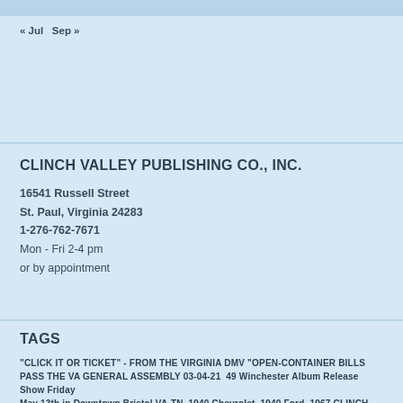« Jul   Sep »
CLINCH VALLEY PUBLISHING CO., INC.
16541 Russell Street
St. Paul, Virginia 24283
1-276-762-7671
Mon - Fri 2-4 pm
or by appointment
TAGS
"CLICK IT OR TICKET" - FROM THE VIRGINIA DMV "OPEN-CONTAINER BILLS PASS THE VA GENERAL ASSEMBLY 03-04-21  49 Winchester Album Release Show Friday May 13th in Downtown Bristol VA-TN  1940 Chevrolet  1940 Ford  1967 CLINCH